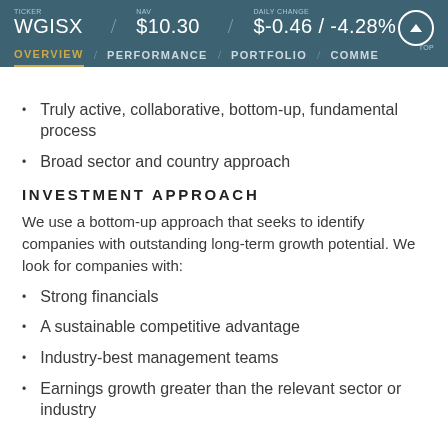TICKER WGISX / NAV $10.30 / DAILY CHANGE $-0.46 / -4.28%
OVERVIEW / PERFORMANCE / PORTFOLIO / COMME
Truly active, collaborative, bottom-up, fundamental process
Broad sector and country approach
INVESTMENT APPROACH
We use a bottom-up approach that seeks to identify companies with outstanding long-term growth potential. We look for companies with:
Strong financials
A sustainable competitive advantage
Industry-best management teams
Earnings growth greater than the relevant sector or industry